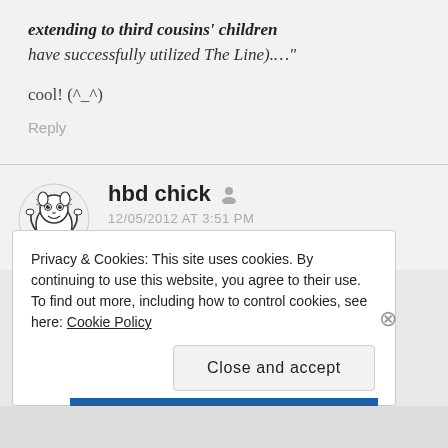extending to third cousins' children have successfully utilized The Line)...."
cool! (^_^)
Reply
hbd chick
12/05/2012 AT 3:51 PM
@jayman – “my first impressions are
Privacy & Cookies: This site uses cookies. By continuing to use this website, you agree to their use.
To find out more, including how to control cookies, see here: Cookie Policy
Close and accept